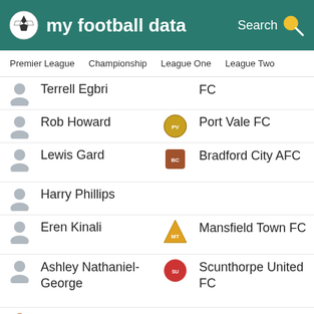my football data
Premier League  Championship  League One  League Two
Terrell Egbri — FC
Rob Howard — Port Vale FC
Lewis Gard — Bradford City AFC
Harry Phillips — Mansfield Town FC
Eren Kinali — Mansfield Town FC
Ashley Nathaniel-George — Scunthorpe United FC
Jason Demetriou — Barrow AFC
Michael Klass — Grimsby Town FC
Harry Kyprianou — Southend United